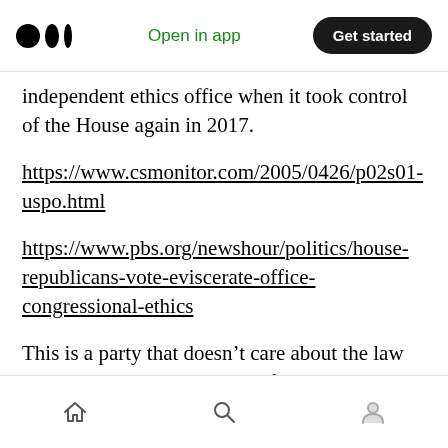Medium logo | Open in app | Get started
independent ethics office when it took control of the House again in 2017.
https://www.csmonitor.com/2005/0426/p02s01-uspo.html
https://www.pbs.org/newshour/politics/house-republicans-vote-eviscerate-office-congressional-ethics
This is a party that doesn’t care about the law or ethics except when it’s useful as a political weapon against Democrats and Liberals.
Home | Search | Profile